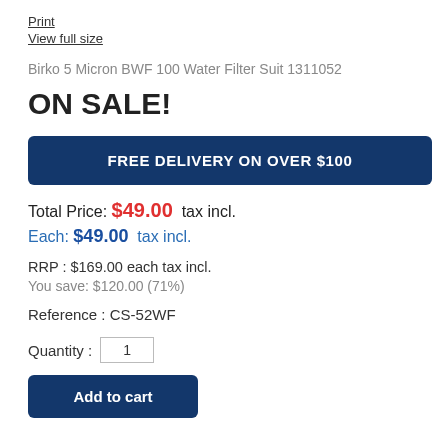Print
View full size
Birko 5 Micron BWF 100 Water Filter Suit 1311052
ON SALE!
FREE DELIVERY ON OVER $100
Total Price: $49.00 tax incl.
Each: $49.00 tax incl.
RRP : $169.00 each tax incl.
You save: $120.00 (71%)
Reference : CS-52WF
Quantity : 1
Add to cart